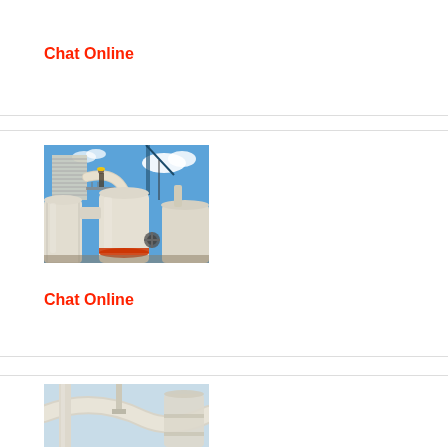[Figure (photo): Industrial equipment/machinery photo, partially visible at top of card (cropped)]
Chat Online
[Figure (photo): Industrial grinding mill or dust collection equipment — large white cylindrical vessels and pipes against blue sky, with worker visible on platform]
Chat Online
[Figure (photo): Industrial piping and equipment, partially visible at bottom of page (cropped)]